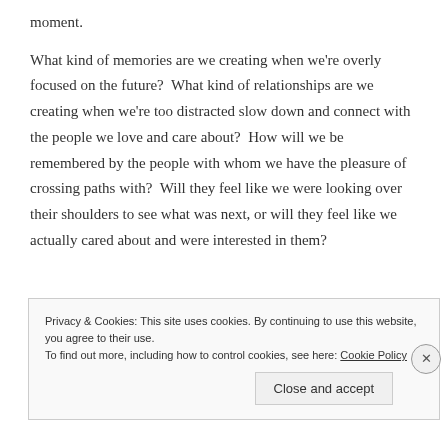moment.
What kind of memories are we creating when we're overly focused on the future?  What kind of relationships are we creating when we're too distracted slow down and connect with the people we love and care about?  How will we be remembered by the people with whom we have the pleasure of crossing paths with?  Will they feel like we were looking over their shoulders to see what was next, or will they feel like we actually cared about and were interested in them?
Privacy & Cookies: This site uses cookies. By continuing to use this website, you agree to their use.
To find out more, including how to control cookies, see here: Cookie Policy
Close and accept